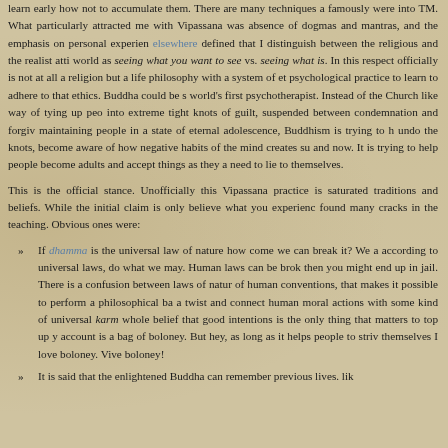learn early how not to accumulate them. There are many techniques a famously were into TM. What particularly attracted me with Vipassana was absence of dogmas and mantras, and the emphasis on personal experien elsewhere defined that I distinguish between the religious and the realist atti world as seeing what you want to see vs. seeing what is. In this respect officially is not at all a religion but a life philosophy with a system of et psychological practice to learn to adhere to that ethics. Buddha could be s world's first psychotherapist. Instead of the Church like way of tying up peo into extreme tight knots of guilt, suspended between condemnation and forgiv maintaining people in a state of eternal adolescence, Buddhism is trying to h undo the knots, become aware of how negative habits of the mind creates su and now. It is trying to help people become adults and accept things as they a need to lie to themselves.
This is the official stance. Unofficially this Vipassana practice is saturated traditions and beliefs. While the initial claim is only believe what you experienc found many cracks in the teaching. Obvious ones were:
If dhamma is the universal law of nature how come we can break it? We a according to universal laws, do what we may. Human laws can be brok then you might end up in jail. There is a confusion between laws of natur of human conventions, that makes it possible to perform a philosophical ba a twist and connect human moral actions with some kind of universal karm whole belief that good intentions is the only thing that matters to top up y account is a bag of boloney. But hey, as long as it helps people to striv themselves I love boloney. Vive boloney!
It is said that the enlightened Buddha can remember previous lives. lik